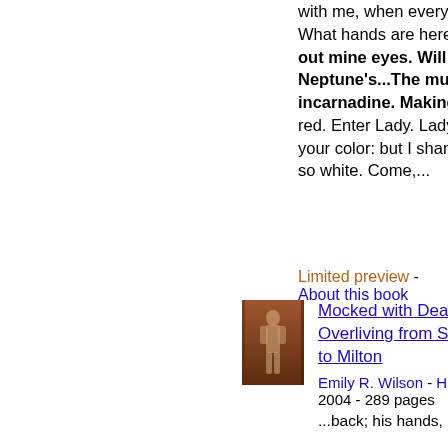with me, when every noise appalls me? What hands are here? Hah: they pluck out mine eyes. Will all great Neptune's...The multitudinous seas incarnadine. Making the green one, red. Enter Lady. Lady. My hands are of your color: but I shame To wear a heart so white. Come,...
Limited preview - About this book
[Figure (photo): Book cover of 'Mocked with Death: Tragic Overliving from Sophocles to Milton' showing a figure painted on a reddish-brown background]
Mocked with Death: Tragic Overliving from Sophocles to Milton
Emily R. Wilson - History - 2004 - 289 pages
...back; his hands,